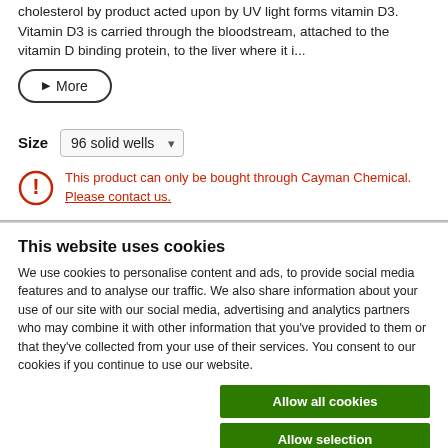cholesterol by product acted upon by UV light forms vitamin D3. Vitamin D3 is carried through the bloodstream, attached to the vitamin D binding protein, to the liver where it i...
▶ More
Size   96 solid wells
This product can only be bought through Cayman Chemical. Please contact us.
This website uses cookies
We use cookies to personalise content and ads, to provide social media features and to analyse our traffic. We also share information about your use of our site with our social media, advertising and analytics partners who may combine it with other information that you've provided to them or that they've collected from your use of their services. You consent to our cookies if you continue to use our website.
Allow all cookies
Allow selection
Use necessary cookies only